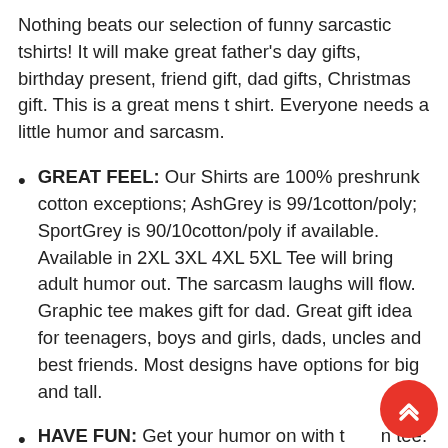Nothing beats our selection of funny sarcastic tshirts! It will make great father's day gifts, birthday present, friend gift, dad gifts, Christmas gift. This is a great mens t shirt. Everyone needs a little humor and sarcasm.
GREAT FEEL: Our Shirts are 100% preshrunk cotton exceptions; AshGrey is 99/1cotton/poly; SportGrey is 90/10cotton/poly if available. Available in 2XL 3XL 4XL 5XL Tee will bring adult humor out. The sarcasm laughs will flow. Graphic tee makes gift for dad. Great gift idea for teenagers, boys and girls, dads, uncles and best friends. Most designs have options for big and tall.
HAVE FUN: Get your humor on with th n tee. The best funny tshirts. Sarcastic and